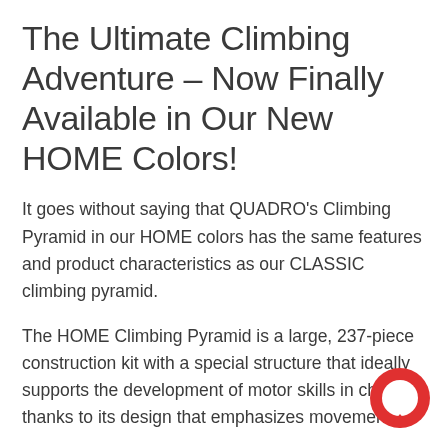The Ultimate Climbing Adventure – Now Finally Available in Our New HOME Colors!
It goes without saying that QUADRO's Climbing Pyramid in our HOME colors has the same features and product characteristics as our CLASSIC climbing pyramid.
The HOME Climbing Pyramid is a large, 237-piece construction kit with a special structure that ideally supports the development of motor skills in children thanks to its design that emphasizes movement.
The size of each square in the grid structure a s remains approx. 14 x 14 inches – the perfect size for